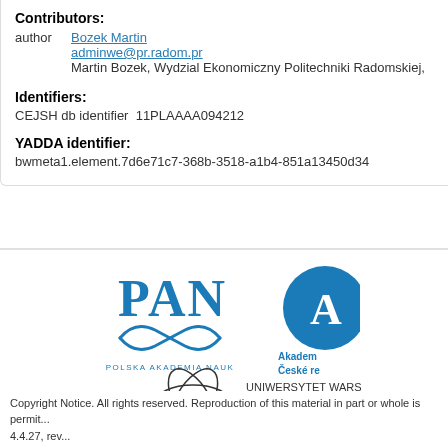Contributors:
author   Bozek Martin
adminwe@pr.radom.pr
Martin Bozek, Wydzial Ekonomiczny Politechniki Radomskiej,
Identifiers:
CEJSH db identifier   11PLAAAA094212
YADDA identifier:
bwmeta1.element.7d6e71c7-368b-3518-a1b4-851a13450d34
[Figure (logo): PAN Polska Akademia Nauk logo - blue serif PAN text with decorative infinity-like swirl beneath, POLSKA AKADEMIA NAUK text below]
[Figure (logo): Akademie České republiky logo - partially visible blue circle with text Akademie České re...]
[Figure (logo): ICM Uniwersytet Warszawski logo with orbiting electron graphic and text: UNIWERSYTET WARS... Interdyscyplinarne... Matematycznego i...]
Copyright Notice. All rights reserved. Reproduction of this material in part or whole is permit... 4.4.27, rev...